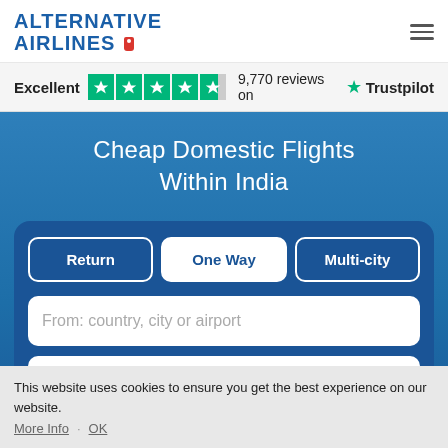[Figure (logo): Alternative Airlines logo with blue text and red price tag icon]
Excellent  9,770 reviews on  Trustpilot
Cheap Domestic Flights Within India
Return
One Way
Multi-city
From: country, city or airport
This website uses cookies to ensure you get the best experience on our website. More Info  OK